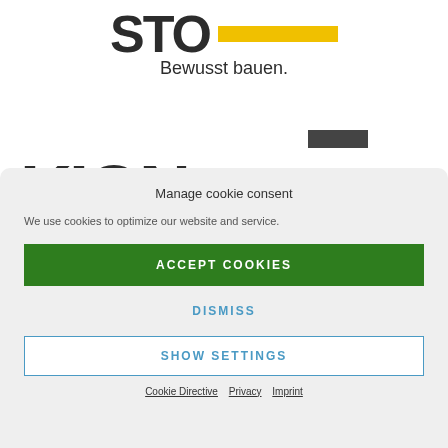[Figure (logo): STO logo with large bold text 'STO' and a yellow horizontal bar beside it, with tagline 'Bewusst bauen.' below]
[Figure (logo): KION logo with large bold black text 'KION' and a dark grey badge/rectangle in the upper right]
Manage cookie consent
We use cookies to optimize our website and service.
ACCEPT COOKIES
DISMISS
SHOW SETTINGS
Cookie Directive  Privacy  Imprint